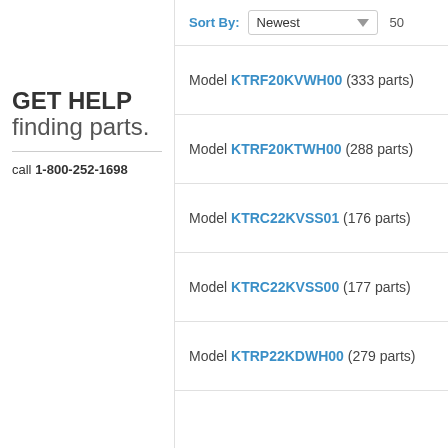GET HELP finding parts.
call 1-800-252-1698
Sort By: Newest | 50
Model KTRF20KVWH00 (333 parts)
Model KTRF20KTWH00 (288 parts)
Model KTRC22KVSS01 (176 parts)
Model KTRC22KVSS00 (177 parts)
Model KTRP22KDWH00 (279 parts)